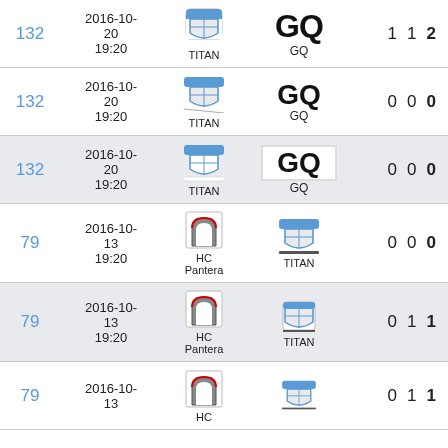| ID | Date | Home | Away | Score |
| --- | --- | --- | --- | --- |
| 132 | 2016-10-20 19:20 | TITAN | GQ | 1 1 2 |
| 132 | 2016-10-20 19:20 | TITAN | GQ | 0 0 0 |
| 132 | 2016-10-20 19:20 | TITAN | GQ | 0 0 0 |
| 79 | 2016-10-13 19:20 | HC Pantera | TITAN | 0 0 0 |
| 79 | 2016-10-13 19:20 | HC Pantera | TITAN | 0 1 1 |
| 79 | 2016-10-13 19:20 | HC Pantera | TITAN | 0 1 1 |